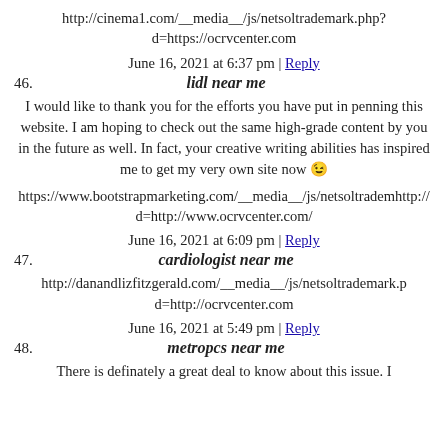http://cinema1.com/__media__/js/netsoltrademark.php?d=https://ocrvcenter.com
June 16, 2021 at 6:37 pm | Reply
46. lidl near me
I would like to thank you for the efforts you have put in penning this website. I am hoping to check out the same high-grade content by you in the future as well. In fact, your creative writing abilities has inspired me to get my very own site now 😉
https://www.bootstrapmarketing.com/__media__/js/netsoltrademark.php?d=http://www.ocrvcenter.com/
June 16, 2021 at 6:09 pm | Reply
47. cardiologist near me
http://danandlizfitzgerald.com/__media__/js/netsoltrademark.php?d=http://ocrvcenter.com
June 16, 2021 at 5:49 pm | Reply
48. metropcs near me
There is definately a great deal to know about this issue. I